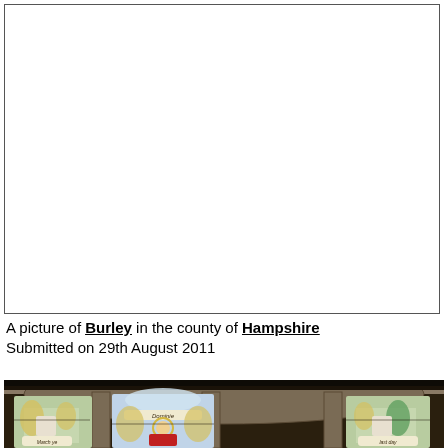[Figure (photo): Empty white bordered box representing a placeholder image area]
A picture of Burley in the county of Hampshire
Submitted on 29th August 2011
[Figure (photo): Photograph of a stained glass window inside a church showing three arched panels with religious figures including angels and a central saint with halo, with decorative stonework above]